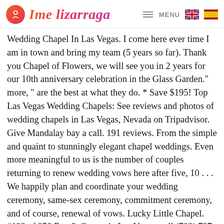Ime Lizarraga — MENU
Wedding Chapel In Las Vegas. I come here ever time I am in town and bring my team (5 years so far). Thank you Chapel of Flowers, we will see you in 2 years for our 10th anniversary celebration in the Glass Garden." more, " are the best at what they do. * Save $195! Top Las Vegas Wedding Chapels: See reviews and photos of wedding chapels in Las Vegas, Nevada on Tripadvisor. Give Mandalay bay a call. 191 reviews. From the simple and quaint to stunningly elegant chapel weddings. Even more meaningful to us is the number of couples returning to renew wedding vows here after five, 10 . . . We happily plan and coordinate your wedding ceremony, same-sex ceremony, commitment ceremony, and of course, renewal of vows. Lucky Little Chapel. #192 of 358 Fun & Games in Las Vegas. call (702) 737-6800 or 800 322 VOWS (8697) or book online. Even the limo driver stepped up and made the ride perfect! (702) 405-9277. The Elvis Wedding Chapel Las Vegas has been performing Elvis Weddings in Las